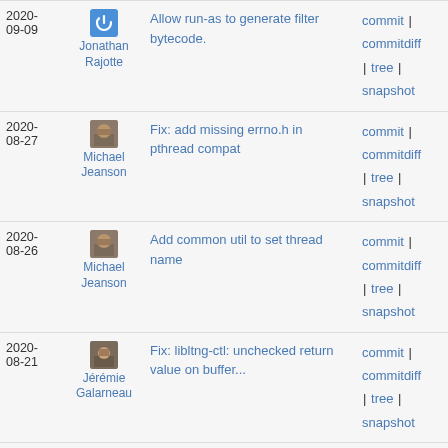| Date | Author | Message | Links |
| --- | --- | --- | --- |
| 2020-09-09 | Jonathan Rajotte | Allow run-as to generate filter bytecode. | commit | commitdiff | tree | snapshot |
| 2020-08-27 | Michael Jeanson | Fix: add missing errno.h in pthread compat | commit | commitdiff | tree | snapshot |
| 2020-08-26 | Michael Jeanson | Add common util to set thread name | commit | commitdiff | tree | snapshot |
| 2020-08-21 | Jérémie Galarneau | Fix: libltng-ctl: unchecked return value on buffer... | commit | commitdiff | tree | snapshot |
| 2020-08-21 | Jérémie Galarneau | Fix: action executor: double work list unlock on error | commit | commitdiff | tree | snapshot |